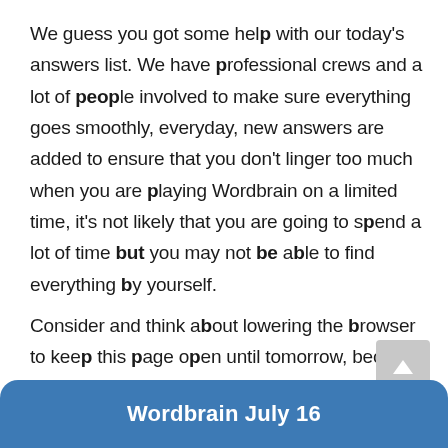We guess you got some help with our today's answers list. We have professional crews and a lot of people involved to make sure everything goes smoothly, everyday, new answers are added to ensure that you don't linger too much when you are playing Wordbrain on a limited time, it's not likely that you are going to spend a lot of time but you may not be able to find everything by yourself.
Consider and think about lowering the browser to keep this page open until tomorrow, because it will show you the answers of the next grid below:
Wordbrain July 16